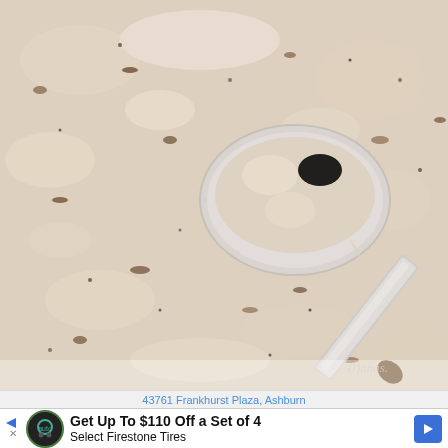[Figure (photo): Close-up overhead photo of creamy white sausage gravy in a pan with a metal spoon resting in it, showing chunky sausage pieces throughout the thick gravy. A watermark reading 'danas.'' is visible in the bottom right. The gravy has black pepper specks throughout.]
43761 Frankhurst Plaza, Ashburn
Get Up To $110 Off a Set of 4 Select Firestone Tires